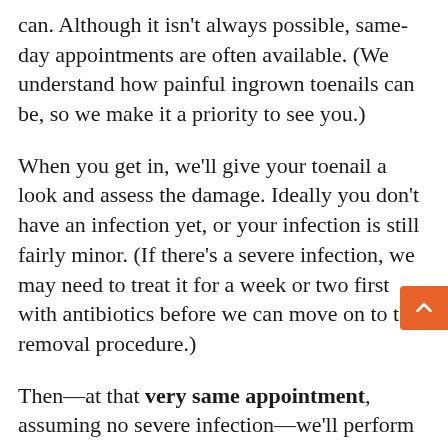can. Although it isn't always possible, same-day appointments are often available. (We understand how painful ingrown toenails can be, so we make it a priority to see you.)
When you get in, we'll give your toenail a look and assess the damage. Ideally you don't have an infection yet, or your infection is still fairly minor. (If there's a severe infection, we may need to treat it for a week or two first with antibiotics before we can move on to the removal procedure.)
Then—at that very same appointment, assuming no severe infection—we'll perform the ingrown toenail removal